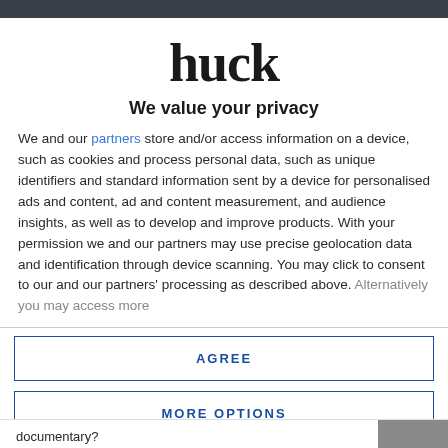[Figure (logo): Huck magazine logo in large bold serif font]
We value your privacy
We and our partners store and/or access information on a device, such as cookies and process personal data, such as unique identifiers and standard information sent by a device for personalised ads and content, ad and content measurement, and audience insights, as well as to develop and improve products. With your permission we and our partners may use precise geolocation data and identification through device scanning. You may click to consent to our and our partners' processing as described above. Alternatively you may access more
AGREE
MORE OPTIONS
documentary?